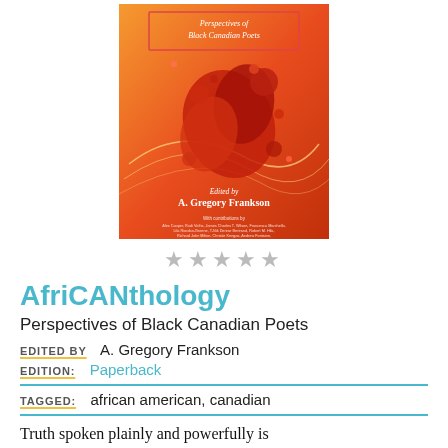[Figure (illustration): Book cover of AfriCANthology: Perspectives of Black Canadian Poets, edited by A. Gregory Frankson. Orange/red background with abstract red floral/splash design and white swirl lines. Title text at top, editor name at bottom.]
★★★★★
AfriCANthology
Perspectives of Black Canadian Poets
EDITED BY  A. Gregory Frankson
EDITION:  Paperback
TAGGED:  african american, canadian
Truth spoken plainly and powerfully is difficult to dismiss and impossible to ignore.